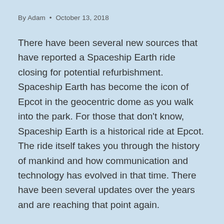By Adam • October 13, 2018
There have been several new sources that have reported a Spaceship Earth ride closing for potential refurbishment. Spaceship Earth has become the icon of Epcot in the geocentric dome as you walk into the park. For those that don't know, Spaceship Earth is a historical ride at Epcot. The ride itself takes you through the history of mankind and how communication and technology has evolved in that time. There have been several updates over the years and are reaching that point again.
Update for 2020: